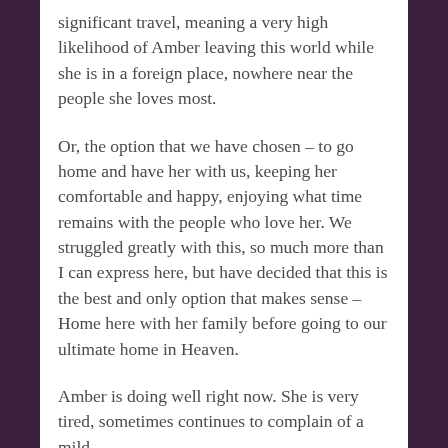significant travel, meaning a very high likelihood of Amber leaving this world while she is in a foreign place, nowhere near the people she loves most.
Or, the option that we have chosen – to go home and have her with us, keeping her comfortable and happy, enjoying what time remains with the people who love her. We struggled greatly with this, so much more than I can express here, but have decided that this is the best and only option that makes sense – Home here with her family before going to our ultimate home in Heaven.
Amber is doing well right now. She is very tired, sometimes continues to complain of a mild